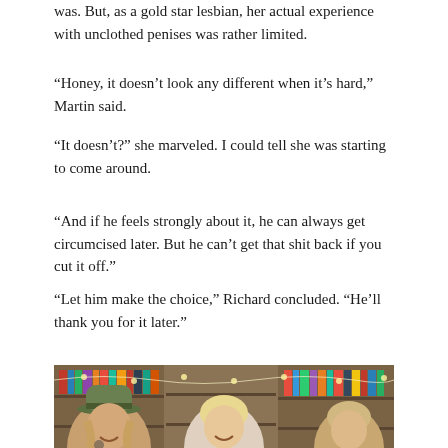was. But, as a gold star lesbian, her actual experience with unclothed penises was rather limited.
“Honey, it doesn’t look any different when it’s hard,” Martin said.
“It doesn’t?” she marveled. I could tell she was starting to come around.
“And if he feels strongly about it, he can always get circumcised later. But he can’t get that shit back if you cut it off.”
“Let him make the choice,” Richard concluded. “He’ll thank you for it later.”
[Figure (photo): Two or three people smiling in front of bookshelves decorated with string lights. One person on the left wears a hat.]